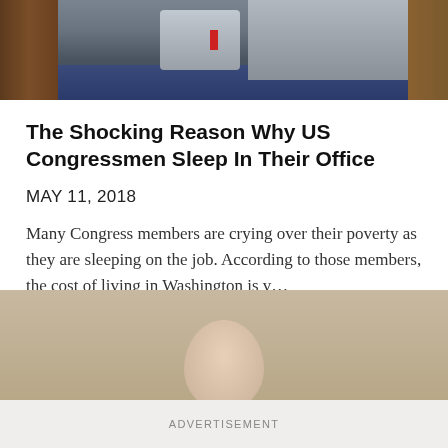[Figure (photo): A person in a suit with a red tie sitting in a congressional office with a bed, wooden panels, and blue carpet visible]
The Shocking Reason Why US Congressmen Sleep In Their Office
MAY 11, 2018
Many Congress members are crying over their poverty as they are sleeping on the job. According to those members, the cost of living in Washington is v…
[Figure (photo): Partial view of an older man's head against a beige/tan background]
ADVERTISEMENT